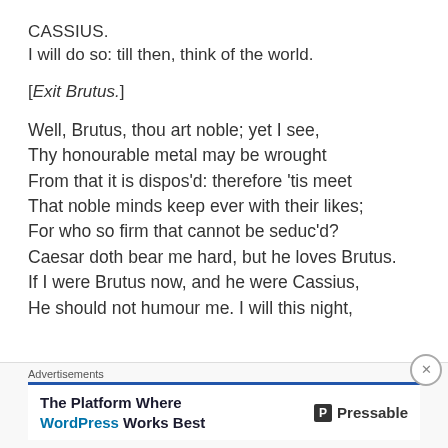CASSIUS.
I will do so: till then, think of the world.
[Exit Brutus.]
Well, Brutus, thou art noble; yet I see,
Thy honourable metal may be wrought
From that it is dispos'd: therefore 'tis meet
That noble minds keep ever with their likes;
For who so firm that cannot be seduc'd?
Caesar doth bear me hard, but he loves Brutus.
If I were Brutus now, and he were Cassius,
He should not humour me. I will this night,
Advertisements
The Platform Where WordPress Works Best